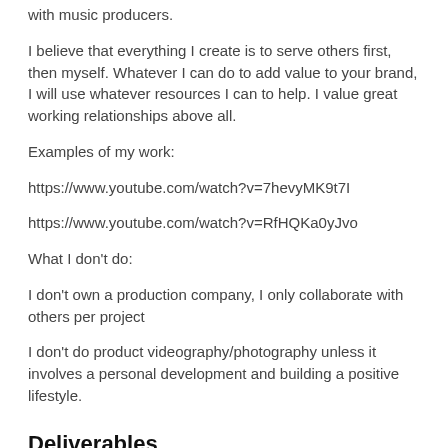with music producers.
I believe that everything I create is to serve others first, then myself. Whatever I can do to add value to your brand, I will use whatever resources I can to help. I value great working relationships above all.
Examples of my work:
https://www.youtube.com/watch?v=7hevyMK9t7I
https://www.youtube.com/watch?v=RfHQKa0yJvo
What I don't do:
I don't own a production company, I only collaborate with others per project
I don't do product videography/photography unless it involves a personal development and building a positive lifestyle.
Deliverables
1 × High quality video for sponsor to use
1 × Instagram post with sponsor tagged and mentioned